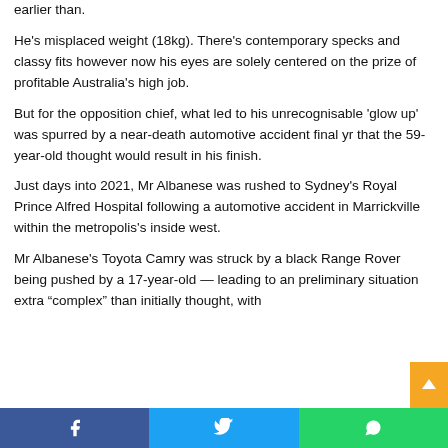earlier than.
He's misplaced weight (18kg). There's contemporary specks and classy fits however now his eyes are solely centered on the prize of profitable Australia's high job.
But for the opposition chief, what led to his unrecognisable 'glow up' was spurred by a near-death automotive accident final yr that the 59-year-old thought would result in his finish.
Just days into 2021, Mr Albanese was rushed to Sydney's Royal Prince Alfred Hospital following a automotive accident in Marrickville within the metropolis's inside west.
Mr Albanese's Toyota Camry was struck by a black Range Rover being pushed by a 17-year-old — leading to an preliminary situation extra “complex” than initially thought, with
Facebook  Twitter  WhatsApp